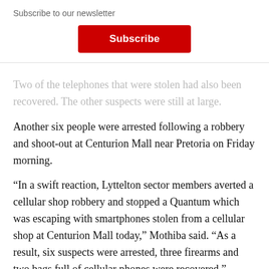Subscribe to our newsletter
[Figure (other): Red Subscribe button on newsletter modal overlay with close (×) button]
Two of the telephones that were stolen had also been recovered. The other suspects were still at large.
Another six people were arrested following a robbery and shoot-out at Centurion Mall near Pretoria on Friday morning.
“In a swift reaction, Lyttelton sector members averted a cellular shop robbery and stopped a Quantum which was escaping with smartphones stolen from a cellular shop at Centurion Mall today,” Mothiba said. “As a result, six suspects were arrested, three firearms and two bags full of cellular phones were recovered.”